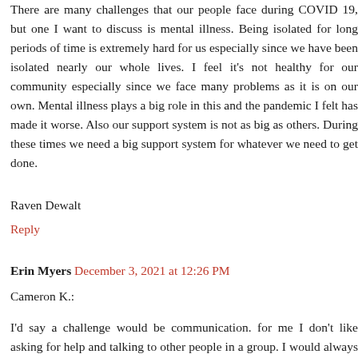There are many challenges that our people face during COVID 19, but one I want to discuss is mental illness. Being isolated for long periods of time is extremely hard for us especially since we have been isolated nearly our whole lives. I feel it's not healthy for our community especially since we face many problems as it is on our own. Mental illness plays a big role in this and the pandemic I felt has made it worse. Also our support system is not as big as others. During these times we need a big support system for whatever we need to get done.
Raven Dewalt
Reply
Erin Myers  December 3, 2021 at 12:26 PM
Cameron K.:
I'd say a challenge would be communication. for me I don't like asking for help and talking to other people in a group. I would always try figuring things out on my own and in doing